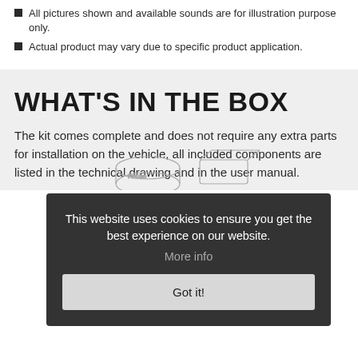All pictures shown and available sounds are for illustration purpose only.
Actual product may vary due to specific product application.
WHAT'S IN THE BOX
The kit comes complete and does not require any extra parts for installation on the vehicle, all included components are listed in the technical drawing and in the user manual.
This website uses cookies to ensure you get the best experience on our website.
More info
Got it!
[Figure (illustration): Line drawing illustration of product components/parts in the box]